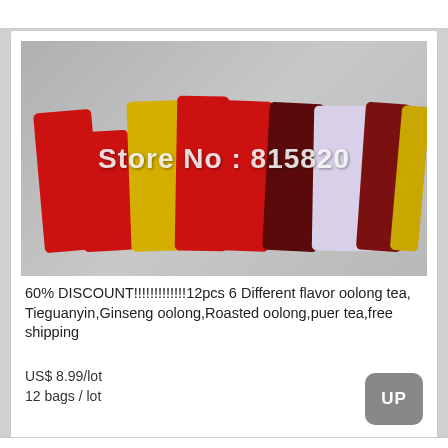[Figure (photo): Product photo showing multiple colorful tea packages in red, gold, dark red/maroon, light purple/white, arranged side by side on a light gray surface, with a white watermark text 'Store No: 815820' overlaid on the image.]
60% DISCOUNT!!!!!!!!!!!!!12pcs 6 Different flavor oolong tea, Tieguanyin,Ginseng oolong,Roasted oolong,puer tea,free shipping
US$ 8.99/lot
12 bags / lot